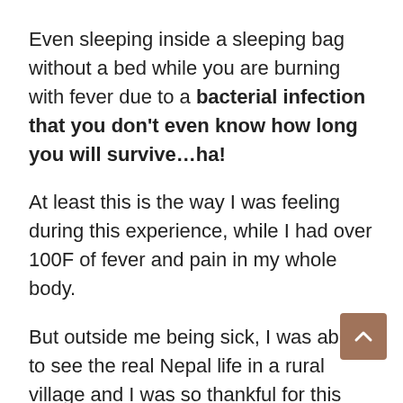Even sleeping inside a sleeping bag without a bed while you are burning with fever due to a bacterial infection that you don't even know how long you will survive…ha!
At least this is the way I was feeling during this experience, while I had over 100F of fever and pain in my whole body.
But outside me being sick, I was able to see the real Nepal life in a rural village and I was so thankful for this opportunity and to continue to explore the Planet while I get out of my comfort zone.